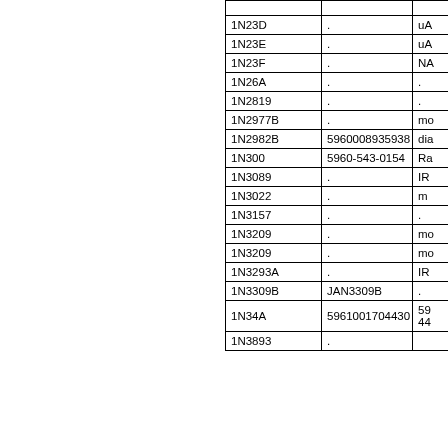| Part Number | NSN/Reference | Description |
| --- | --- | --- |
|  |  |  |
| 1N23D | . | uA |
| 1N23E | . | uA |
| 1N23F | . | NA |
| 1N26A | . | . |
| 1N2819 | . | . |
| 1N2977B | . | mo |
| 1N2982B | 5960008935938 | dia |
| 1N300 | 5960-543-0154 | Ra |
| 1N3089 | . | IR |
| 1N3022 | . | m |
| 1N3157 | . | . |
| 1N3209 | . | mo |
| 1N3209 | . | mo |
| 1N3293A | . | IR |
| 1N3309B | JAN3309B | . |
| 1N34A | 5961001704430 | 59
44 |
| 1N3893 | . |  |